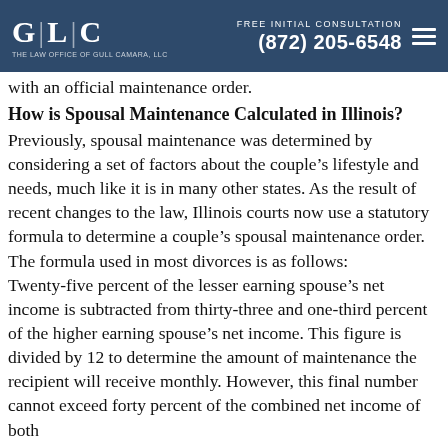GLC | Free Initial Consultation | (872) 205-6548
with an official maintenance order.
How is Spousal Maintenance Calculated in Illinois?
Previously, spousal maintenance was determined by considering a set of factors about the couple’s lifestyle and needs, much like it is in many other states. As the result of recent changes to the law, Illinois courts now use a statutory formula to determine a couple’s spousal maintenance order. The formula used in most divorces is as follows: Twenty-five percent of the lesser earning spouse’s net income is subtracted from thirty-three and one-third percent of the higher earning spouse’s net income. This figure is divided by 12 to determine the amount of maintenance the recipient will receive monthly. However, this final number cannot exceed forty percent of the combined net income of both